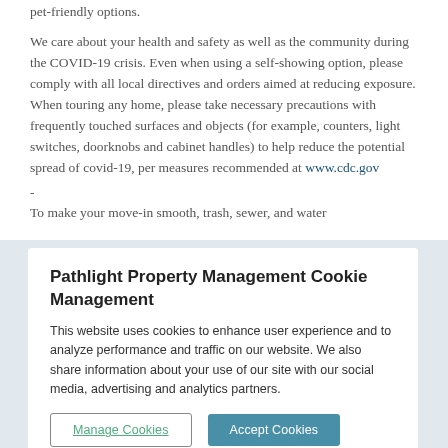pet-friendly options.
We care about your health and safety as well as the community during the COVID-19 crisis. Even when using a self-showing option, please comply with all local directives and orders aimed at reducing exposure. When touring any home, please take necessary precautions with frequently touched surfaces and objects (for example, counters, light switches, doorknobs and cabinet handles) to help reduce the potential spread of covid-19, per measures recommended at www.cdc.gov
-
To make your move-in smooth, trash, sewer, and water
Pathlight Property Management Cookie Management
This website uses cookies to enhance user experience and to analyze performance and traffic on our website. We also share information about your use of our site with our social media, advertising and analytics partners.
Manage Cookies
Accept Cookies